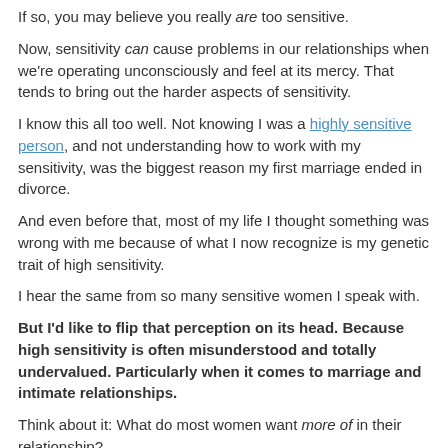If so, you may believe you really are too sensitive.
Now, sensitivity can cause problems in our relationships when we're operating unconsciously and feel at its mercy. That tends to bring out the harder aspects of sensitivity.
I know this all too well. Not knowing I was a highly sensitive person, and not understanding how to work with my sensitivity, was the biggest reason my first marriage ended in divorce.
And even before that, most of my life I thought something was wrong with me because of what I now recognize is my genetic trait of high sensitivity.
I hear the same from so many sensitive women I speak with.
But I'd like to flip that perception on its head. Because high sensitivity is often misunderstood and totally undervalued. Particularly when it comes to marriage and intimate relationships.
Think about it: What do most women want more of in their relationship?